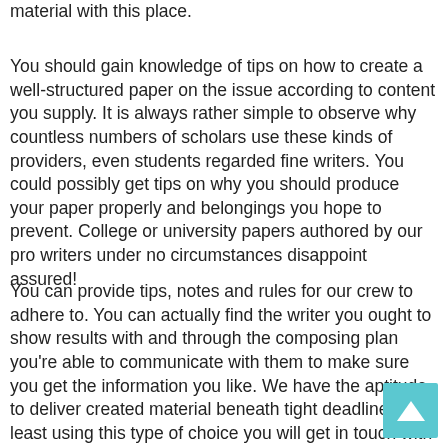material with this place.
You should gain knowledge of tips on how to create a well-structured paper on the issue according to content you supply. It is always rather simple to observe why countless numbers of scholars use these kinds of providers, even students regarded fine writers. You could possibly get tips on why you should produce your paper properly and belongings you hope to prevent. College or university papers authored by our pro writers under no circumstances disappoint assured!
You can provide tips, notes and rules for our crew to adhere to. You can actually find the writer you ought to show results with and through the composing plan you're able to communicate with them to make sure you get the information you like. We have the aptitude to deliver created material beneath tight deadlines. At least using this type of choice you will get in touch with knowledgeable writers anytime for nearly any kind of tutorial assignment.